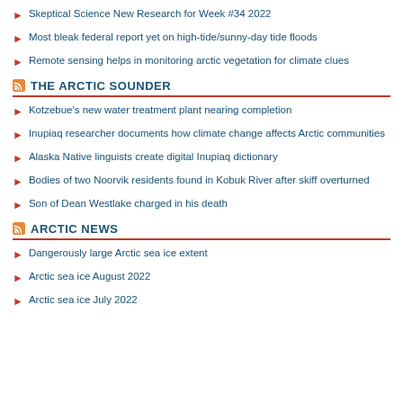Skeptical Science New Research for Week #34 2022
Most bleak federal report yet on high-tide/sunny-day tide floods
Remote sensing helps in monitoring arctic vegetation for climate clues
THE ARCTIC SOUNDER
Kotzebue's new water treatment plant nearing completion
Inupiaq researcher documents how climate change affects Arctic communities
Alaska Native linguists create digital Inupiaq dictionary
Bodies of two Noorvik residents found in Kobuk River after skiff overturned
Son of Dean Westlake charged in his death
ARCTIC NEWS
Dangerously large Arctic sea ice extent
Arctic sea ice August 2022
Arctic sea ice July 2022